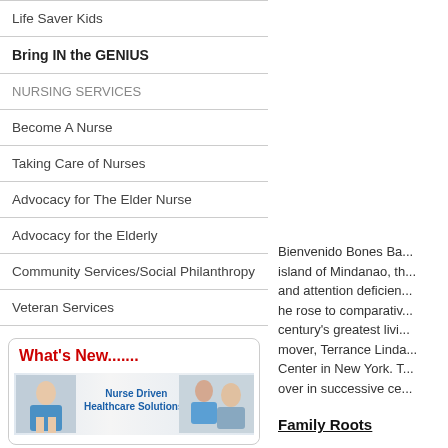Life Saver Kids
Bring IN the GENIUS
NURSING SERVICES
Become A Nurse
Taking Care of Nurses
Advocacy for The Elder Nurse
Advocacy for the Elderly
Community Services/Social Philanthropy
Veteran Services
[Figure (illustration): What's New....... banner with Nurse Driven Healthcare Solutions image showing nurses]
Bienvenido Bones Ba... island of Mindanao, th... and attention deficien... he rose to comparativ... century's greatest livi... mover, Terrance Linda... Center in New York. T... over in successive ce...
Family Roots
Bienvenido Bones Ba... his time, whose asce...